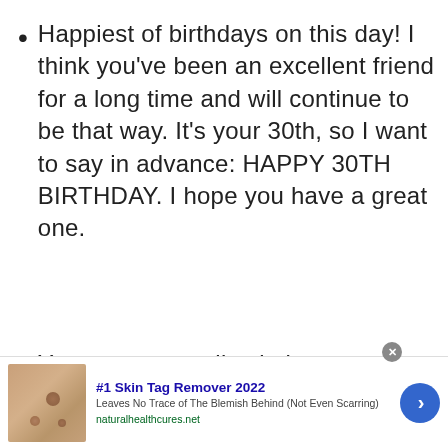Happiest of birthdays on this day! I think you've been an excellent friend for a long time and will continue to be that way. It's your 30th, so I want to say in advance: HAPPY 30TH BIRTHDAY. I hope you have a great one.
You may not realize it, but you
[Figure (screenshot): Advertisement banner: '#1 Skin Tag Remover 2022 - Leaves No Trace of The Blemish Behind (Not Even Scarring) - naturalhealthcures.net' with a skin image on the left and a blue arrow button on the right. A close (X) button appears in the top-right corner.]